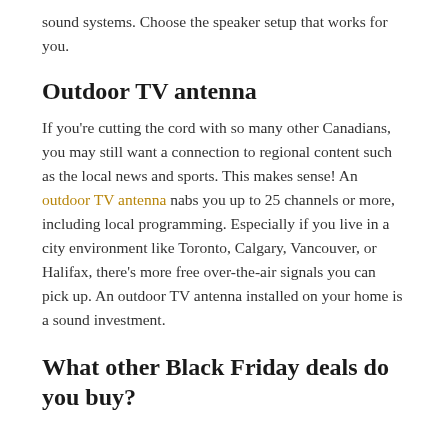sound systems. Choose the speaker setup that works for you.
Outdoor TV antenna
If you're cutting the cord with so many other Canadians, you may still want a connection to regional content such as the local news and sports. This makes sense! An outdoor TV antenna nabs you up to 25 channels or more, including local programming. Especially if you live in a city environment like Toronto, Calgary, Vancouver, or Halifax, there's more free over-the-air signals you can pick up. An outdoor TV antenna installed on your home is a sound investment.
What other Black Friday deals do you buy?